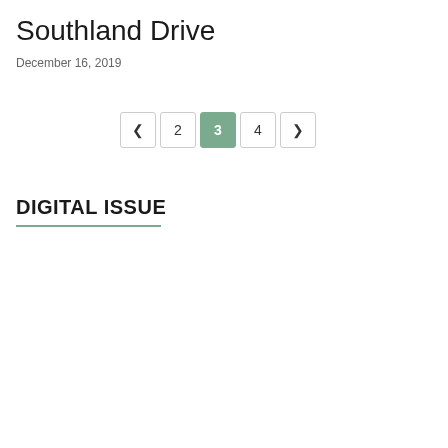Southland Drive
December 16, 2019
[Figure (other): Pagination control showing navigation arrows and page numbers 2, 3 (active/highlighted in green), 4]
DIGITAL ISSUE